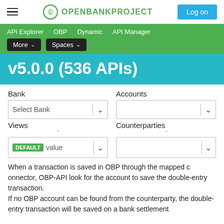OPENBANKPROJECT — Log on
API Explorer   OBP   Dynamic   API Manager   More ∨   Spaces ∨
v5.0.0 (536 APIs)
Bank   Accounts   Select Bank   Views   Counterparties   DEFAULT value
When a transaction is saved in OBP through the mapped connector, OBP-API look for the account to save the double-entry transaction. If no OBP account can be found from the counterparty, the double-entry transaction will be saved on a bank settlement